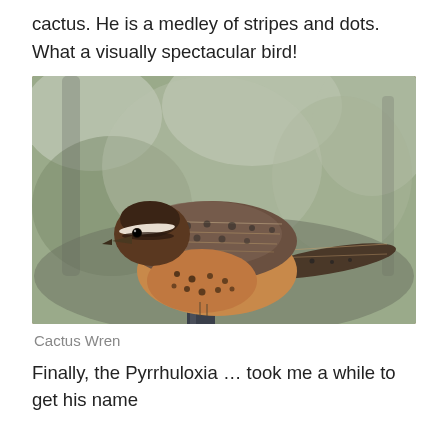cactus. He is a medley of stripes and dots. What a visually spectacular bird!
[Figure (photo): A Cactus Wren bird perched on a metal post or pipe, viewed from the side, showing brown and white striped/spotted plumage on wings and back, rufous-orange chest with dark spots, dark cap with white eyebrow stripe, with a blurred green-grey bokeh background of trees.]
Cactus Wren
Finally, the Pyrrhuloxia … took me a while to get his name